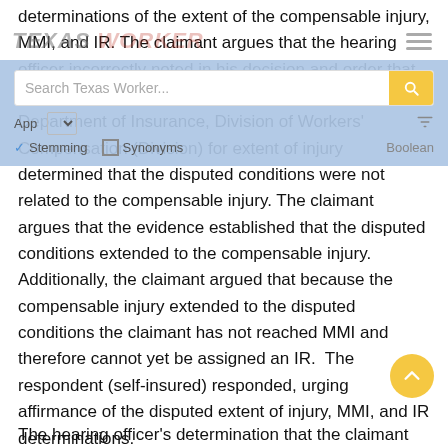determinations of the extent of the compensable injury, MMI, and IR. The claimant argues that the hearing officer incorrectly noted in his decision and order that the designated doctor appointed by the Texas Department of Insurance, Division of Workers' Compensation (Division) for extent of injury determined that the disputed conditions were not related to the compensable injury. The claimant argues that the evidence established that the disputed conditions extended to the compensable injury. Additionally, the claimant argued that because the compensable injury extended to the disputed conditions the claimant has not reached MMI and therefore cannot yet be assigned an IR.  The respondent (self-insured) responded, urging affirmance of the disputed extent of injury, MMI, and IR determinations.
The hearing officer's determination that the claimant